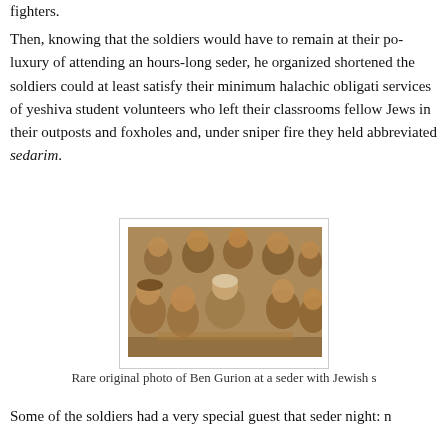fighters.
Then, knowing that the soldiers would have to remain at their po- luxury of attending an hours-long seder, he organized shortened the soldiers could at least satisfy their minimum halachic obligati- services of yeshiva student volunteers who left their classrooms fellow Jews in their outposts and foxholes and, under sniper fire they held abbreviated sedarim.
[Figure (photo): Rare original black and white sepia photo of Ben Gurion seated at a seder surrounded by Jewish soldiers in military uniform.]
Rare original photo of Ben Gurion at a seder with Jewish s
Some of the soldiers had a very special guest that seder night: n